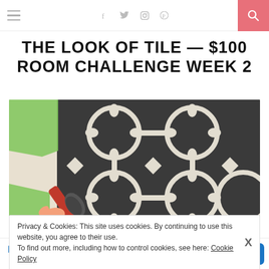Navigation bar with menu icon, social icons (f, twitter, instagram, pinterest), and search button
THE LOOK OF TILE — $100 ROOM CHALLENGE WEEK 2
[Figure (photo): Close-up photo of a hand holding a paint brush applying dark grey/charcoal paint through a decorative Moroccan-style tile stencil onto a light surface. Green painter's tape is visible on the left edge.]
Privacy & Cookies: This site uses cookies. By continuing to use this website, you agree to their use.
To find out more, including how to control cookies, see here: Cookie Policy
[Figure (infographic): Advertisement banner for Petco: 'Your Pet's Summer Essentials' with Petco logo and blue arrow icon.]